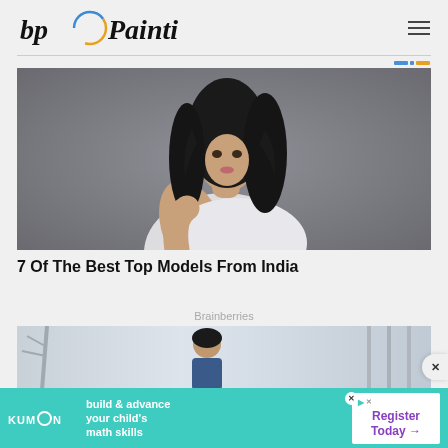[Figure (logo): bp Painting logo with circular orange and blue swirl graphic]
[Figure (photo): Female model with long dark hair wearing a white top, looking over shoulder against grey background]
7 Of The Best Top Models From India
Brainberries
[Figure (photo): Couple in outdoor scene, man with dark hair in blue jacket]
[Figure (infographic): Kumon advertisement banner: build & advance your child's math skills - Register Today]